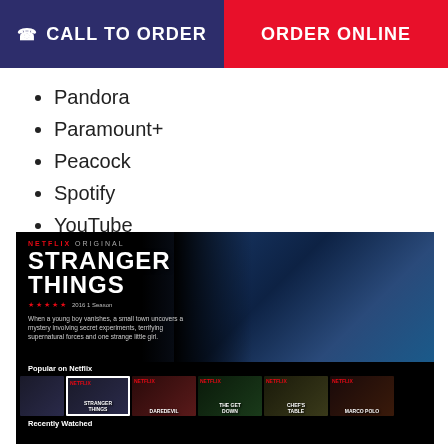CALL TO ORDER | ORDER ONLINE
Pandora
Paramount+
Peacock
Spotify
YouTube
[Figure (screenshot): Netflix streaming interface showing Stranger Things hero banner with cast imagery, star rating, show description, Popular on Netflix thumbnail row (Stranger Things, Daredevil, The Get Down, Chef's Table, Marco Polo), and Recently Watched section below.]